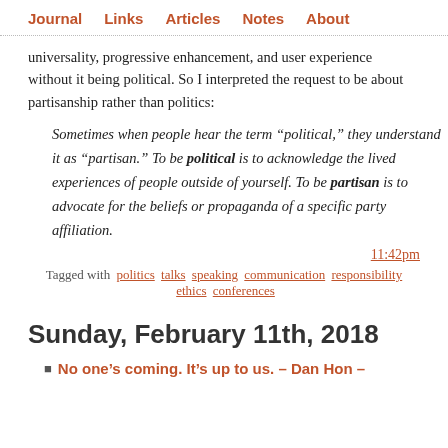Journal  Links  Articles  Notes  About
universality, progressive enhancement, and user experience without it being political. So I interpreted the request to be about partisanship rather than politics:
Sometimes when people hear the term “political,” they understand it as “partisan.” To be political is to acknowledge the lived experiences of people outside of yourself. To be partisan is to advocate for the beliefs or propaganda of a specific party affiliation.
11:42pm
Tagged with politics talks speaking communication responsibility ethics conferences
Sunday, February 11th, 2018
No one’s coming. It’s up to us. – Dan Hon –